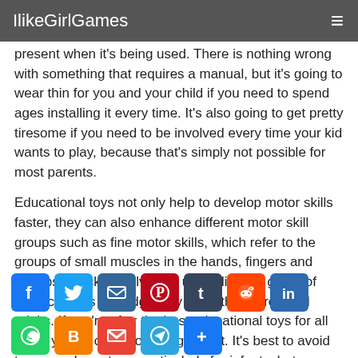IlikeGirlGames
present when it's being used. There is nothing wrong with something that requires a manual, but it's going to wear thin for you and your child if you need to spend ages installing it every time. It's also going to get pretty tiresome if you need to be involved every time your kid wants to play, because that's simply not possible for most parents.
Educational toys not only help to develop motor skills faster, they can also enhance different motor skill groups such as fine motor skills, which refer to the groups of small muscles in the hands, fingers and thumbs. Stack to Solve this unpredictable game of balance… it's the 'fidget' toy for both children and adults. If you're after the best educational toys for all ages, you've come to the right post. It's best to avoid too many large toys, particularly for infants, but a tricycle or scooter is ideal for your toddler.
[Figure (infographic): Row of social media share icons: Facebook, Twitter, Email, Pinterest, Tumblr, Reddit, LinkedIn, WhatsApp, Blogger, Gmail, Telegram, Share]